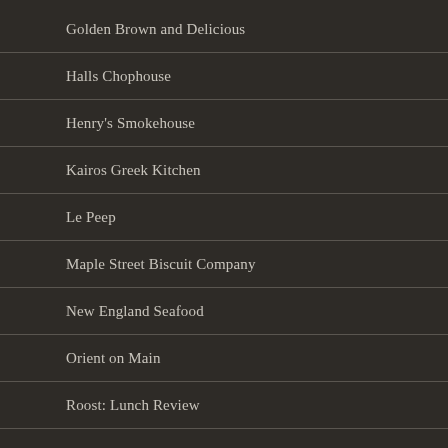Golden Brown and Delicious
Halls Chophouse
Henry's Smokehouse
Kairos Greek Kitchen
Le Peep
Maple Street Biscuit Company
New England Seafood
Orient on Main
Roost: Lunch Review